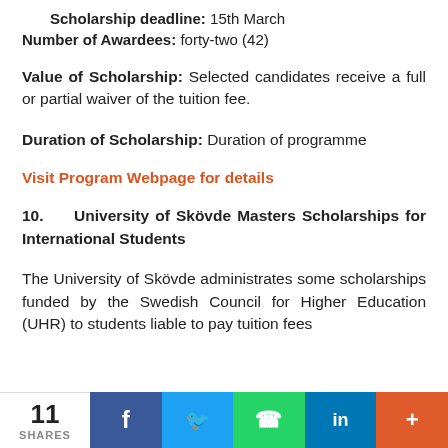Scholarship deadline: 15th March
Number of Awardees: forty-two (42)
Value of Scholarship: Selected candidates receive a full or partial waiver of the tuition fee.
Duration of Scholarship: Duration of programme
Visit Program Webpage for details
10. University of Skövde Masters Scholarships for International Students
The University of Skövde administrates some scholarships funded by the Swedish Council for Higher Education (UHR) to students liable to pay tuition fees